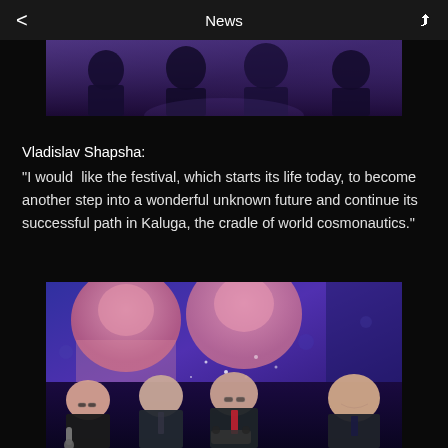News
[Figure (photo): Partial photo of people at an event on a dark stage, cropped at the top]
Vladislav Shapsha:
“I would like the festival, which starts its life today, to become another step into a wonderful unknown future and continue its successful path in Kaluga, the cradle of world cosmonautics.”
[Figure (photo): Photo of four men in suits on a stage at a festival event, with a purple/blue illuminated background showing large screen projections of their faces. One man holds a microphone.]